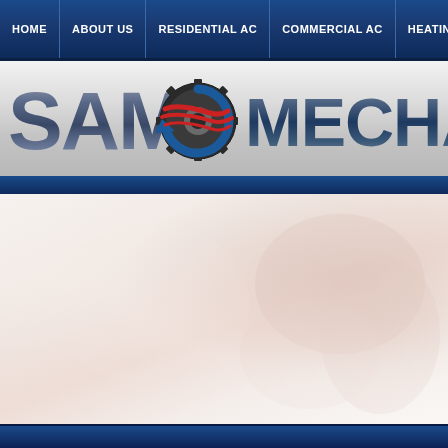HOME | ABOUT US | RESIDENTIAL AC | COMMERCIAL AC | HEATING SERVICES | OIL...
[Figure (logo): SAM Mechanical logo with gear and flag/swoosh icon, blue and red colors on metallic silver background]
[Figure (photo): Blurred background photo of a technician's hands working, light pinkish-white tones]